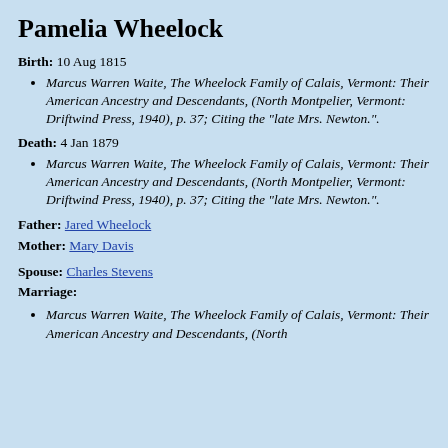Pamelia Wheelock
Birth: 10 Aug 1815
Marcus Warren Waite, The Wheelock Family of Calais, Vermont: Their American Ancestry and Descendants, (North Montpelier, Vermont: Driftwind Press, 1940), p. 37; Citing the "late Mrs. Newton.".
Death: 4 Jan 1879
Marcus Warren Waite, The Wheelock Family of Calais, Vermont: Their American Ancestry and Descendants, (North Montpelier, Vermont: Driftwind Press, 1940), p. 37; Citing the "late Mrs. Newton.".
Father: Jared Wheelock
Mother: Mary Davis
Spouse: Charles Stevens
Marriage:
Marcus Warren Waite, The Wheelock Family of Calais, Vermont: Their American Ancestry and Descendants, (North